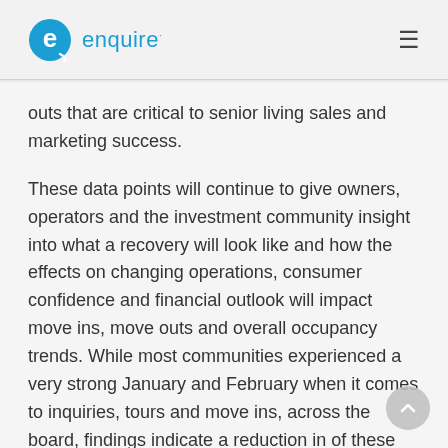enquire
outs that are critical to senior living sales and marketing success.
These data points will continue to give owners, operators and the investment community insight into what a recovery will look like and how the effects on changing operations, consumer confidence and financial outlook will impact move ins, move outs and overall occupancy trends. While most communities experienced a very strong January and February when it comes to inquiries, tours and move ins, across the board, findings indicate a reduction in of these same metrics in March and April. The findings also highlight